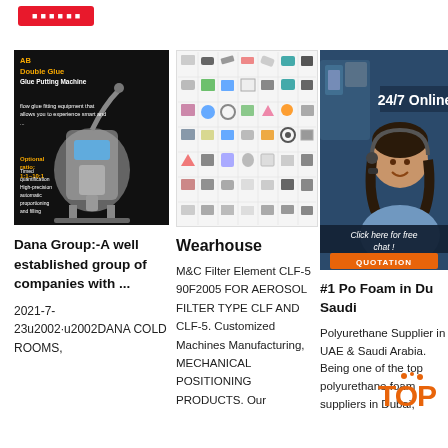[Figure (screenshot): Red button/banner at top of page]
[Figure (photo): AB Double Glue, Glue Putting Machine product photo on dark background with orange text overlay]
[Figure (infographic): Grid of small product/parts icons in a catalog-style grid layout]
[Figure (photo): 24/7 Online customer service representative with chat interface, dark blue background, with Click here for free chat and QUOTATION button]
Dana Group:-A well established group of companies with ...
2021-7-23u2002·u2002DANA COLD ROOMS,
Wearhouse
M&C Filter Element CLF-5 90F2005 FOR AEROSOL FILTER TYPE CLF AND CLF-5. Customized Machines Manufacturing, MECHANICAL POSITIONING PRODUCTS. Our
#1 Po Foar in Du Saud
Polyurethane Supplier in UAE & Saudi Arabia. Being one of the top polyurethane foam suppliers in Dubai,